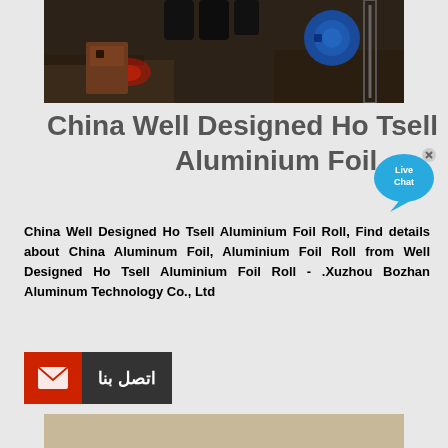[Figure (photo): Industrial machinery with a blue motor/pump component on dark background]
China Well Designed Ho Tsell Aluminium Foil Roll
[Figure (illustration): Live Chat speech bubble icon in blue]
China Well Designed Ho Tsell Aluminium Foil Roll, Find details about China Aluminum Foil, Aluminium Foil Roll from Well Designed Ho Tsell Aluminium Foil Roll - .Xuzhou Bozhan Aluminum Technology Co., Ltd
[Figure (illustration): Contact button with red email icon and dark grey Arabic text 'اتصل بنا' (Contact Us)]
[Figure (photo): Outdoor construction/mining site with heavy equipment machinery]